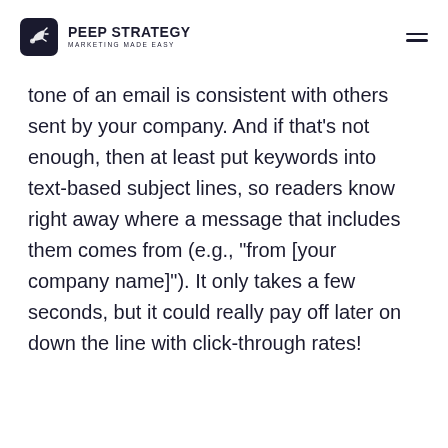PEEP STRATEGY MARKETING MADE EASY
tone of an email is consistent with others sent by your company. And if that’s not enough, then at least put keywords into text-based subject lines, so readers know right away where a message that includes them comes from (e.g., “from [your company name]”). It only takes a few seconds, but it could really pay off later on down the line with click-through rates!